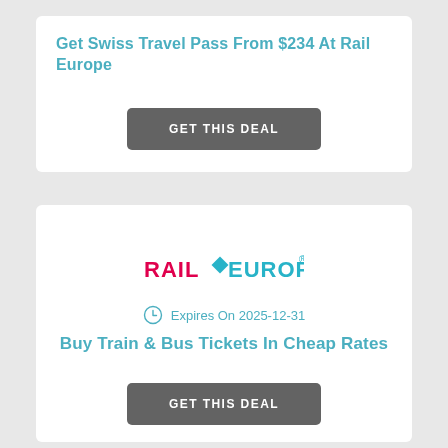Get Swiss Travel Pass From $234 At Rail Europe
GET THIS DEAL
[Figure (logo): Rail Europe logo in magenta and teal with a diamond shape]
Expires On 2025-12-31
Buy Train & Bus Tickets In Cheap Rates
GET THIS DEAL